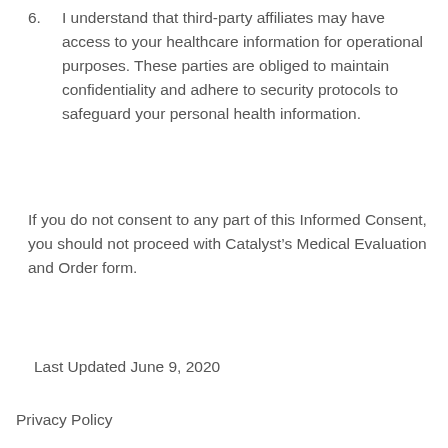6. I understand that third-party affiliates may have access to your healthcare information for operational purposes. These parties are obliged to maintain confidentiality and adhere to security protocols to safeguard your personal health information.
If you do not consent to any part of this Informed Consent, you should not proceed with Catalyst’s Medical Evaluation and Order form.
Last Updated June 9, 2020
Privacy Policy